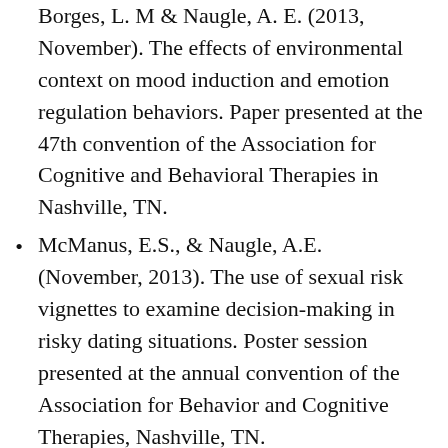Borges, L. M & Naugle, A. E. (2013, November). The effects of environmental context on mood induction and emotion regulation behaviors. Paper presented at the 47th convention of the Association for Cognitive and Behavioral Therapies in Nashville, TN.
McManus, E.S., & Naugle, A.E. (November, 2013). The use of sexual risk vignettes to examine decision-making in risky dating situations. Poster session presented at the annual convention of the Association for Behavior and Cognitive Therapies, Nashville, TN.
Adams, T. E. & Naugle, A. E. (February, 2013). The relationship between risky consensual